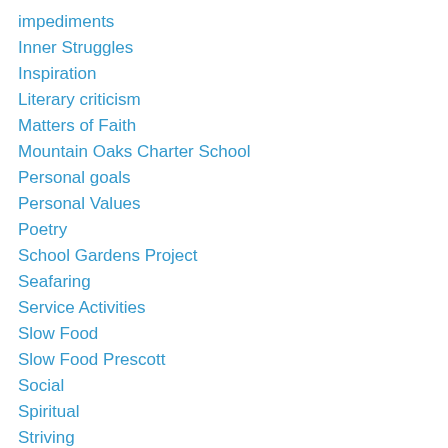impediments
Inner Struggles
Inspiration
Literary criticism
Matters of Faith
Mountain Oaks Charter School
Personal goals
Personal Values
Poetry
School Gardens Project
Seafaring
Service Activities
Slow Food
Slow Food Prescott
Social
Spiritual
Striving
Technical stuff
Travel
Uncategorized